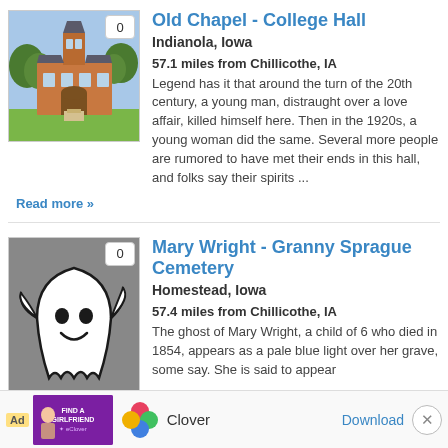[Figure (photo): Photo of Old Chapel - College Hall, a brick building with a tower and arched entrance, surrounded by trees]
Old Chapel - College Hall
Indianola, Iowa
57.1 miles from Chillicothe, IA
Legend has it that around the turn of the 20th century, a young man, distraught over a love affair, killed himself here. Then in the 1920s, a young woman did the same. Several more people are rumored to have met their ends in this hall, and folks say their spirits ...
Read more »
[Figure (illustration): Cartoon ghost illustration - white ghost with smiley face on gray background]
Mary Wright - Granny Sprague Cemetery
Homestead, Iowa
57.4 miles from Chillicothe, IA
The ghost of Mary Wright, a child of 6 who died in 1854, appears as a pale blue light over her grave, some say. She is said to appear
Read m
[Figure (screenshot): Ad banner: Find a Girlfriend app ad with Clover logo, Download button, and close button]